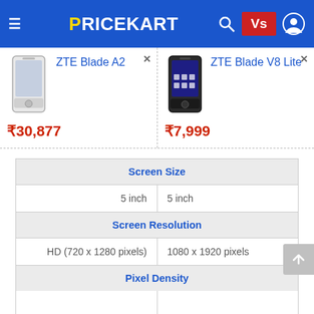PRICEKART — comparison page header with hamburger menu, search, Vs button, user icon
[Figure (screenshot): ZTE Blade A2 smartphone product image (white smartphone)]
ZTE Blade A2
₹30,877
[Figure (screenshot): ZTE Blade V8 Lite smartphone product image (black smartphone)]
ZTE Blade V8 Lite
₹7,999
| Screen Size |  |
| --- | --- |
| 5 inch | 5 inch |
| Screen Resolution |  |
| HD (720 x 1280 pixels) | 1080 x 1920 pixels |
| Pixel Density |  |